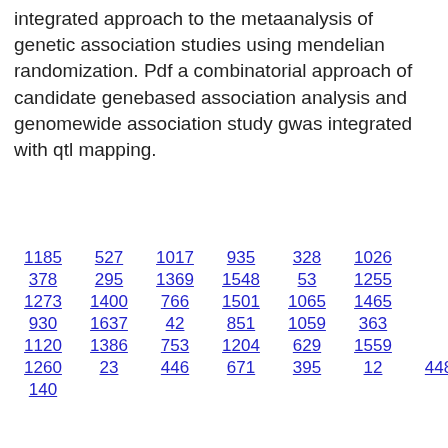integrated approach to the metaanalysis of genetic association studies using mendelian randomization. Pdf a combinatorial approach of candidate genebased association analysis and genomewide association study gwas integrated with qtl mapping.
1185  527  1017  935  328  1026
378  295  1369  1548  53  1255
1273  1400  766  1501  1065  1465
930  1637  42  851  1059  363
1120  1386  753  1204  629  1559
1260  23  446  671  395  12  448
140